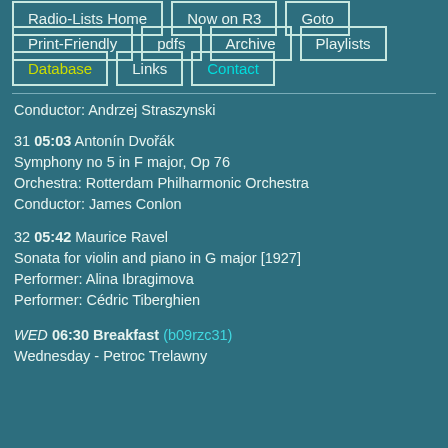Radio-Lists Home
Now on R3
Goto
Print-Friendly
pdfs
Archive
Playlists
Database
Links
Contact
Conductor: Andrzej Straszynski
31 05:03 Antonín Dvořák
Symphony no 5 in F major, Op 76
Orchestra: Rotterdam Philharmonic Orchestra
Conductor: James Conlon
32 05:42 Maurice Ravel
Sonata for violin and piano in G major [1927]
Performer: Alina Ibragimova
Performer: Cédric Tiberghien
WED 06:30 Breakfast (b09rzc31)
Wednesday - Petroc Trelawny